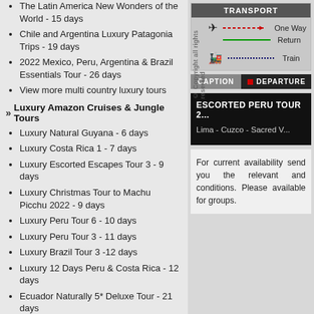The Latin America New Wonders of the World - 15 days
Chile and Argentina Luxury Patagonia Trips - 19 days
2022 Mexico, Peru, Argentina & Brazil Essentials Tour - 26 days
View more multi country luxury tours
» Luxury Amazon Cruises & Jungle Tours
Luxury Natural Guyana - 6 days
Luxury Costa Rica 1 - 7 days
Luxury Escorted Escapes Tour 3 - 9 days
Luxury Christmas Tour to Machu Picchu 2022 - 9 days
Luxury Peru Tour 6 - 10 days
Luxury Peru Tour 3 - 11 days
Luxury Brazil Tour 3 -12 days
Luxury 12 Days Peru & Costa Rica - 12 days
Ecuador Naturally 5* Deluxe Tour - 21 days
» View all Peru Luxury Tours
[Figure (infographic): Transport legend box showing airplane icon with red dashed line (One Way), green solid line (Return), and train icon with dotted blue line (Train). Below are CAPTION and DEPARTURE buttons.]
ESCORTED PERU TOUR 2...
Lima - Cuzco - Sacred V...
For current availability send you the relevant and conditions. Please available for groups.